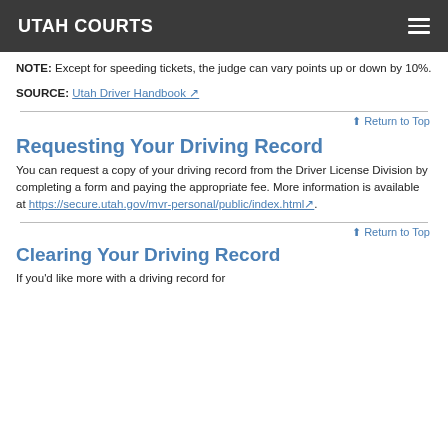UTAH COURTS
NOTE: Except for speeding tickets, the judge can vary points up or down by 10%.
SOURCE: Utah Driver Handbook
↑ Return to Top
Requesting Your Driving Record
You can request a copy of your driving record from the Driver License Division by completing a form and paying the appropriate fee. More information is available at https://secure.utah.gov/mvr-personal/public/index.html.
↑ Return to Top
Clearing Your Driving Record
If you'd like more with a driving record for...